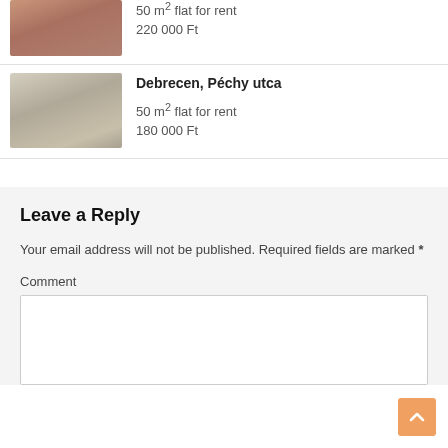[Figure (photo): Interior photo of a room with sofa and furniture, warm tones]
50 m² flat for rent
220 000 Ft
[Figure (photo): Interior photo of a living room with sofa and TV, neutral tones]
Debrecen, Péchy utca
50 m² flat for rent
180 000 Ft
Leave a Reply
Your email address will not be published. Required fields are marked *
Comment